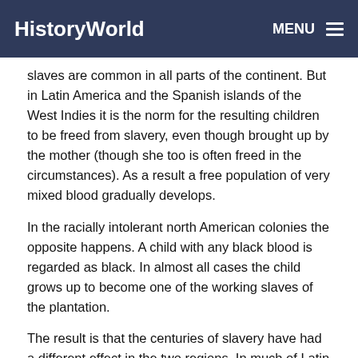HistoryWorld  MENU
slaves are common in all parts of the continent. But in Latin America and the Spanish islands of the West Indies it is the norm for the resulting children to be freed from slavery, even though brought up by the mother (though she too is often freed in the circumstances). As a result a free population of very mixed blood gradually develops.
In the racially intolerant north American colonies the opposite happens. A child with any black blood is regarded as black. In almost all cases the child grows up to become one of the working slaves of the plantation.
The result is that the centuries of slavery have had a different effect in the two regions. In much of Latin America the modern population contains a considerable mixture of Amerindian, black and white blood.